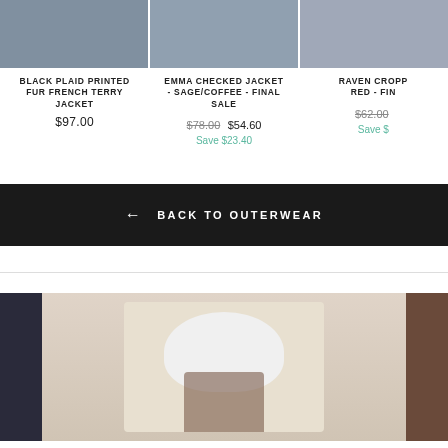BLACK PLAID PRINTED FUR FRENCH TERRY JACKET
$97.00
EMMA CHECKED JACKET - SAGE/COFFEE - FINAL SALE
$78.00 $54.60
Save $23.40
RAVEN CROPPED RED - FIN...
$62.00
Save $...
← BACK TO OUTERWEAR
[Figure (photo): Woman sitting in a white tufted chair surrounded by magazine covers and fashion imagery collage]